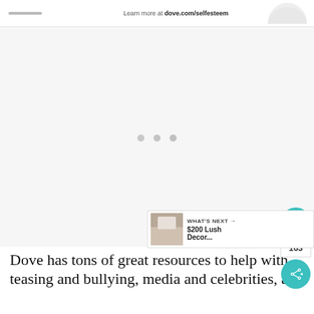Learn more at dove.com/selfesteem
[Figure (photo): Large light-colored image area with three grey dots (carousel indicators) centered, and a partial circular product image in the top right corner]
[Figure (infographic): Heart/like button (teal circle with heart icon), count 163, and share button (teal circle with share icon) on the right side]
[Figure (photo): What's Next panel showing a small room/decor photo thumbnail and text '$200 Lush Decor...' with arrow]
Dove has tons of great resources to help with teasing and bullying, media and celebrities, and